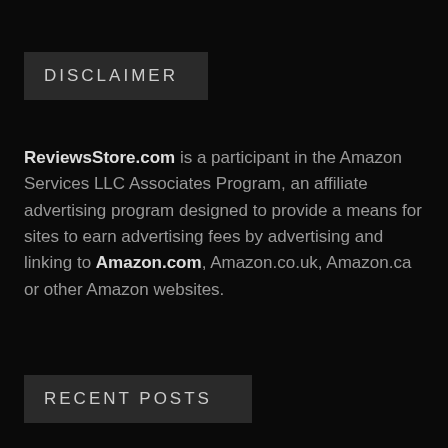DISCLAIMER
ReviewsStore.com is a participant in the Amazon Services LLC Associates Program, an affiliate advertising program designed to provide a means for sites to earn advertising fees by advertising and linking to Amazon.com, Amazon.co.uk, Amazon.ca or other Amazon websites.
RECENT POSTS